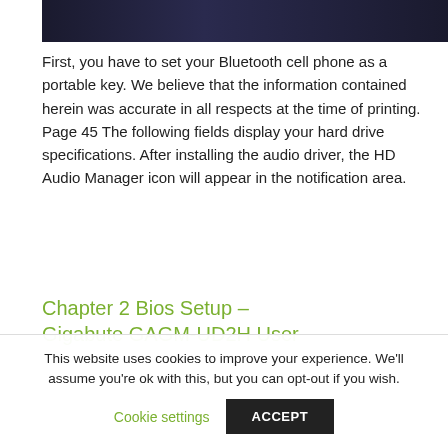[Figure (screenshot): Dark/black screenshot image strip at the top of the page]
First, you have to set your Bluetooth cell phone as a portable key. We believe that the information contained herein was accurate in all respects at the time of printing. Page 45 The following fields display your hard drive specifications. After installing the audio driver, the HD Audio Manager icon will appear in the notification area.
Chapter 2 Bios Setup – Gigabute GAGM-UD2H User
This website uses cookies to improve your experience. We'll assume you're ok with this, but you can opt-out if you wish.
Cookie settings   ACCEPT